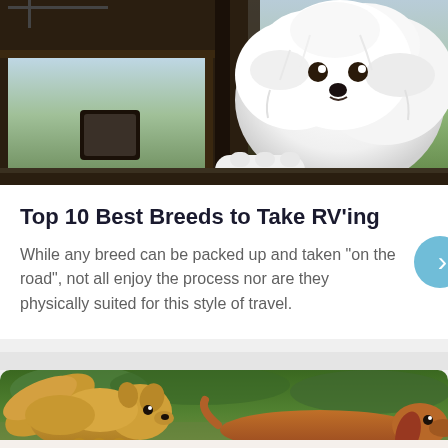[Figure (photo): A white fluffy dog leaning out of an RV window, with green fields and sky visible in the background through the window. RV side mirror and antenna visible.]
Top 10 Best Breeds to Take RV'ing
While any breed can be packed up and taken “on the road”, not all enjoy the process nor are they physically suited for this style of travel.
[Figure (photo): Two dogs outdoors on grass — a fluffy Pomeranian on the left and a Dachshund on the right, with green foliage in the background.]